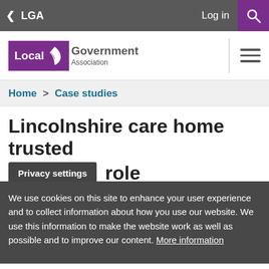< LGA  Log in  [search]
[Figure (logo): Local Government Association logo with purple background and stylized bird/tick icon]
Home > Case studies
Lincolnshire care home trusted role
Privacy settings
We use cookies on this site to enhance your user experience and to collect information about how you use our website. We use this information to make the website work as well as possible and to improve our content. More information